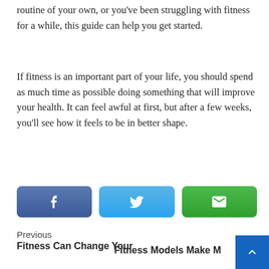routine of your own, or you've been struggling with fitness for a while, this guide can help you get started.
If fitness is an important part of your life, you should spend as much time as possible doing something that will improve your health. It can feel awful at first, but after a few weeks, you'll see how it feels to be in better shape.
[Figure (other): Social sharing buttons: Facebook (blue), Twitter (light blue), Email (green)]
Previous
Fitness Can Change Your
Fitness Models Make M